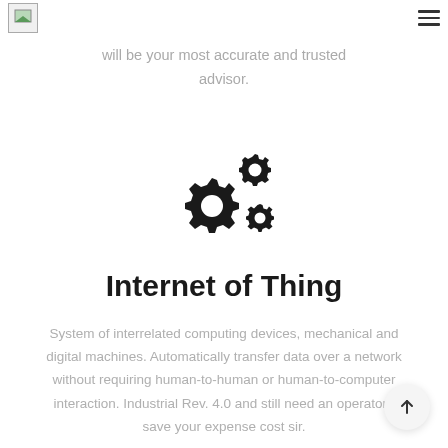[logo] [hamburger menu]
will be your most accurate and trusted advisor.
[Figure (illustration): Two interlocking gear/cog icons representing IoT or mechanical systems]
Internet of Thing
System of interrelated computing devices, mechanical and digital machines. Automatically transfer data over a network without requiring human-to-human or human-to-computer interaction. Industrial Rev. 4.0 and still need an operator? save your expense cost sir.